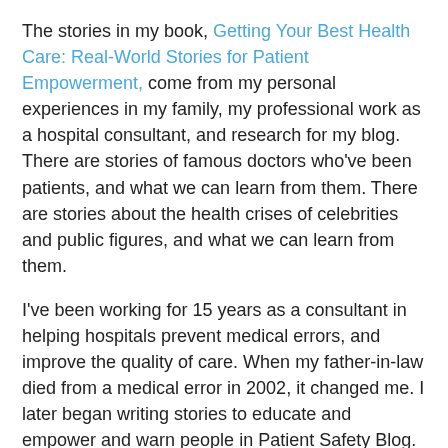The stories in my book, Getting Your Best Health Care: Real-World Stories for Patient Empowerment, come from my personal experiences in my family, my professional work as a hospital consultant, and research for my blog. There are stories of famous doctors who've been patients, and what we can learn from them. There are stories about the health crises of celebrities and public figures, and what we can learn from them.
I've been working for 15 years as a consultant in helping hospitals prevent medical errors, and improve the quality of care. When my father-in-law died from a medical error in 2002, it changed me. I later began writing stories to educate and empower and warn people in Patient Safety Blog. So my interest was first professional, then very painfully personal, and then professional in a different direction, as a patient advocate.
Now my work enables people to partner with their doctors, to get the best patient-centered care.